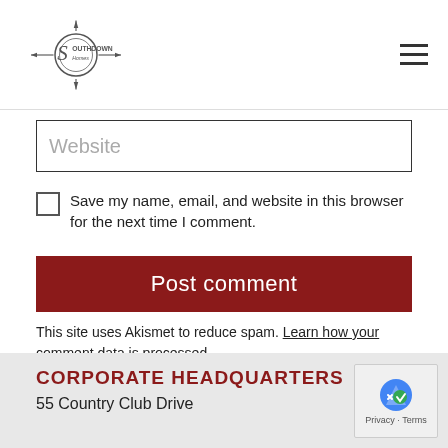Southdown Homes
Website
Save my name, email, and website in this browser for the next time I comment.
Post comment
This site uses Akismet to reduce spam. Learn how your comment data is processed.
CORPORATE HEADQUARTERS
55 Country Club Drive